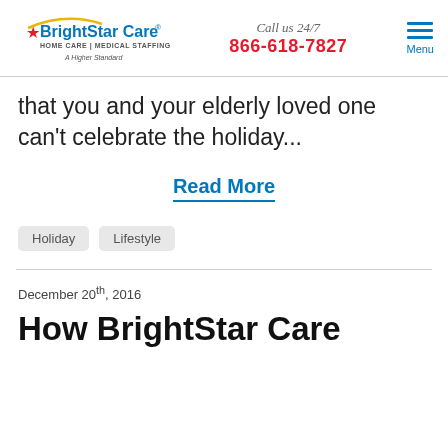BrightStar Care | HOME CARE | MEDICAL STAFFING | A Higher Standard | Call us 24/7 | 866-618-7827 | Menu
that you and your elderly loved one can't celebrate the holiday...
Read More
Holiday   Lifestyle
December 20th, 2016
How BrightStar Care